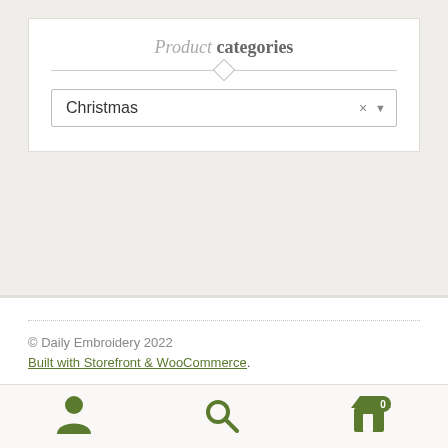Product categories
Christmas
© Daily Embroidery 2022
Built with Storefront & WooCommerce.